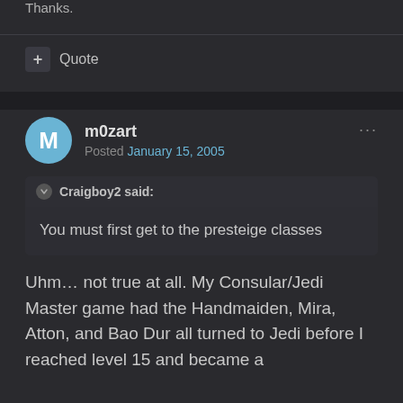Thanks.
+ Quote
m0zart
Posted January 15, 2005
Craigboy2 said:
You must first get to the presteige classes
Uhm... not true at all. My Consular/Jedi Master game had the Handmaiden, Mira, Atton, and Bao Dur all turned to Jedi before I reached level 15 and became a